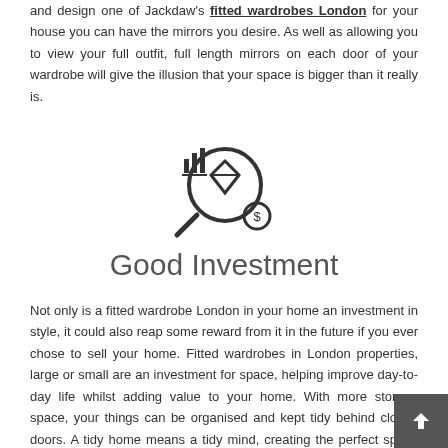and design one of Jackdaw's fitted wardrobes London for your house you can have the mirrors you desire. As well as allowing you to view your full outfit, full length mirrors on each door of your wardrobe will give the illusion that your space is bigger than it really is.
[Figure (illustration): Icon showing a magnifying glass with a diamond inside and a dollar coin, representing good investment concept]
Good Investment
Not only is a fitted wardrobe London in your home an investment in style, it could also reap some reward from it in the future if you ever chose to sell your home. Fitted wardrobes in London properties, large or small are an investment for space, helping improve day-to-day life whilst adding value to your home. With more storage space, your things can be organised and kept tidy behind closed doors. A tidy home means a tidy mind, creating the perfect space for you to wind down and relax. With a made to measure fitted wardrobe London in your home, there'll be no irksome gaps to collect dust like with a free-standing wardrobe.